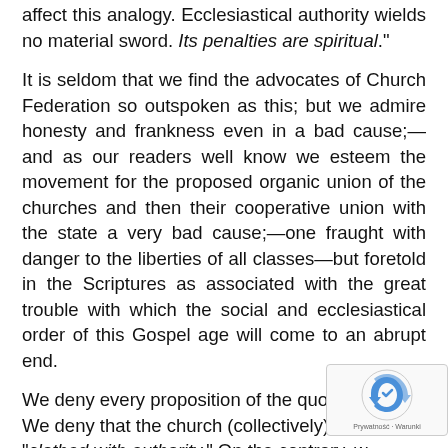affect this analogy. Ecclesiastical authority wields no material sword. Its penalties are spiritual."
It is seldom that we find the advocates of Church Federation so outspoken as this; but we admire honesty and frankness even in a bad cause;—and as our readers well know we esteem the movement for the proposed organic union of the churches and then their cooperative union with the state a very bad cause;—one fraught with danger to the liberties of all classes—but foretold in the Scriptures as associated with the great trouble with which the social and ecclesiastical order of this Gospel age will come to an abrupt end.
We deny every proposition of the quotation. ( We deny that the church (collectively) "clothed with authority." On the contrary, w...